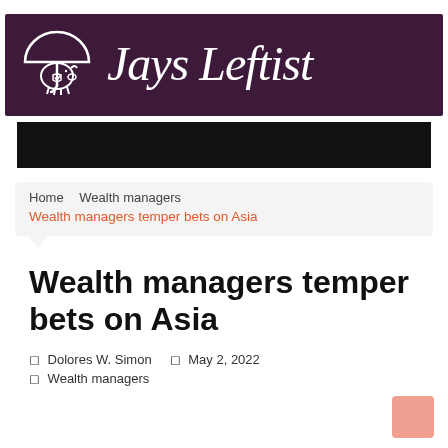[Figure (logo): Jays Leftist logo with piggy bank under umbrella on dark purple background]
[Figure (other): Black advertisement/banner bar]
Home   Wealth managers
Wealth managers temper bets on Asia
Wealth managers temper bets on Asia
Dolores W. Simon   May 2, 2022
Wealth managers